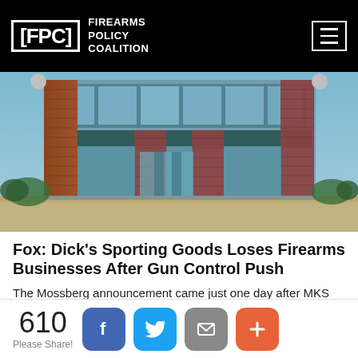FPC FIREARMS POLICY COALITION
[Figure (photo): Exterior of a Dick's Sporting Goods store — brick and glass facade with large windows and a parking lot in the foreground.]
Fox: Dick's Sporting Goods Loses Firearms Businesses After Gun Control Push
The Mossberg announcement came just one day after MKS Supply, which makes Hi-Point firearms, also announced it would pull out of Dick's. Last week, gun manufacturer Springfield Armory said it was halting business with the sport's supply company, too.
Read More>>
610 Please Share!